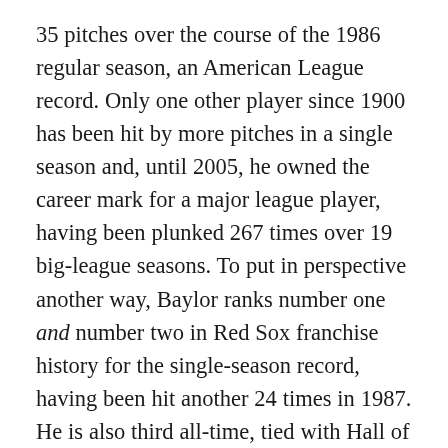35 pitches over the course of the 1986 regular season, an American League record. Only one other player since 1900 has been hit by more pitches in a single season and, until 2005, he owned the career mark for a major league player, having been plunked 267 times over 19 big-league seasons. To put in perspective another way, Baylor ranks number one and number two in Red Sox franchise history for the single-season record, having been hit another 24 times in 1987. He is also third all-time, tied with Hall of Fame catcher Carlton Fisk, for the most times hit by a pitch in a Boston uniform and sits only twelve behind the Red Sox career leader, Mo Vaughn. Perhaps even more interesting is that he reached his